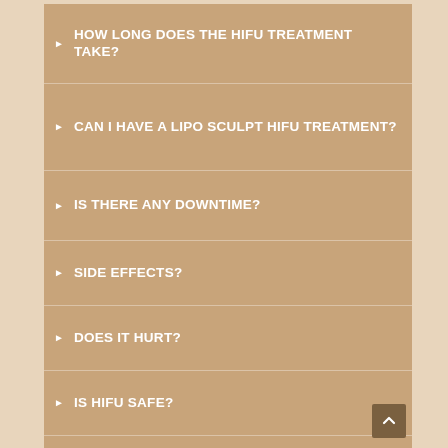HOW LONG DOES THE HIFU TREATMENT TAKE?
CAN I HAVE A LIPO SCULPT HIFU TREATMENT?
IS THERE ANY DOWNTIME?
SIDE EFFECTS?
DOES IT HURT?
IS HIFU SAFE?
CAN HIGH-INTENSITY FOCUSED ULTRASOUND REPLACE A PROCEDURE FOR FACE LIFT?